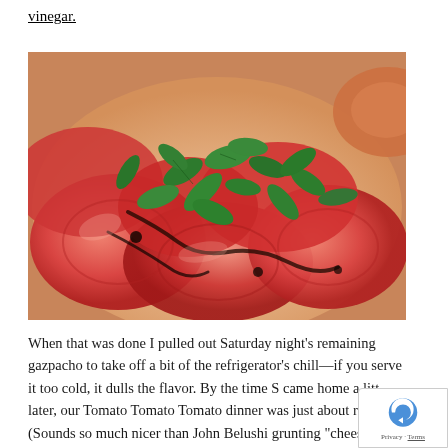vinegar.
[Figure (photo): Close-up photo of sliced tomatoes on a plate topped with fresh mint leaves and balsamic vinegar drizzle.]
When that was done I pulled out Saturday night's remaining gazpacho to take off a bit of the refrigerator's chill—if you serve it too cold, it dulls the flavor. By the time S came home a little later, our Tomato Tomato Tomato dinner was just about re (Sounds so much nicer than John Belushi grunting "cheesboorg a